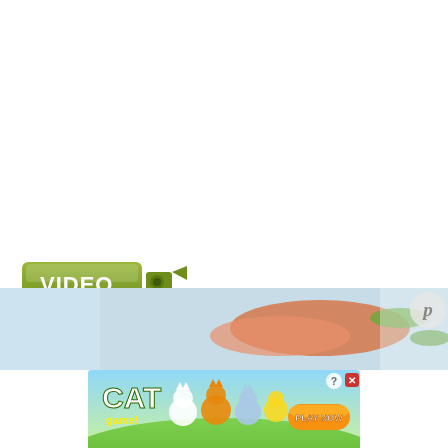[Figure (logo): Green VIDEO badge with camera icon — a rectangular olive/green button with white bold text 'VIDEO' and a video camera silhouette to the right]
Watch our video on how to peel and grate ginger!
[Figure (photo): Partial bottom strip showing food items — salmon, green herbs/vegetables on a light blue and warm-toned background]
[Figure (screenshot): Advertisement banner for 'Cat Game' mobile game showing cartoon cats, a 'PLAY NOW' button in orange, close and help buttons in top right corner, on a green background]